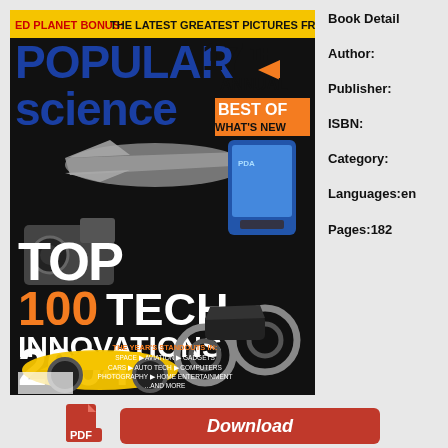[Figure (illustration): Magazine cover of Popular Science, 17th Annual Best of What's New issue. Top 100 Tech Innovations 2004. Features images of a fighter jet, PDA device, video camera, yellow sports car, and motorcycle. Text: ED PLANET BONUS: THE LATEST GREATEST PICTURES FROM MARS, THE YEAR'S STANDOUTS IN: SPACE > AVIATION > GADGETS, CARS > AUTO TECH > COMPUTERS, PHOTOGRAPHY > HOME ENTERTAINMENT, ...AND MORE]
Book Detail  Author:  Publisher:  ISBN:  Category:  Languages: en  Pages: 182
[Figure (illustration): PDF download button with red background showing 'Download' text in white italic, and a PDF file icon to the left]